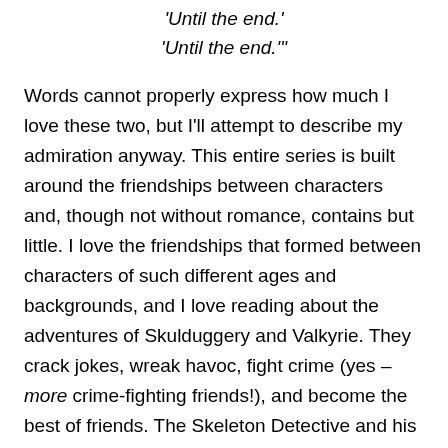'Until the end.'
'Until the end.'"
Words cannot properly express how much I love these two, but I'll attempt to describe my admiration anyway. This entire series is built around the friendships between characters and, though not without romance, contains but little. I love the friendships that formed between characters of such different ages and backgrounds, and I love reading about the adventures of Skulduggery and Valkyrie. They crack jokes, wreak havoc, fight crime (yes – more crime-fighting friends!), and become the best of friends. The Skeleton Detective and his assistant never cease to make me laugh and cry… sometimes both at once.
-~-
Of course, I have many other favorite fictional